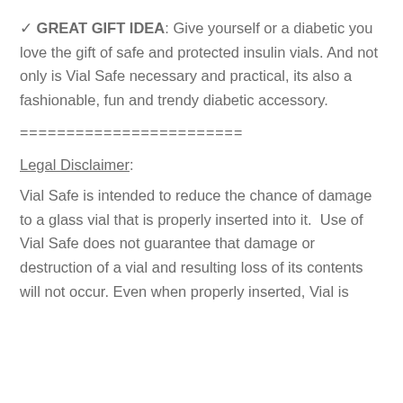✓ GREAT GIFT IDEA: Give yourself or a diabetic you love the gift of safe and protected insulin vials. And not only is Vial Safe necessary and practical, its also a fashionable, fun and trendy diabetic accessory.
========================
Legal Disclaimer:
Vial Safe is intended to reduce the chance of damage to a glass vial that is properly inserted into it.  Use of Vial Safe does not guarantee that damage or destruction of a vial and resulting loss of its contents will not occur. Even when properly inserted, Vial is